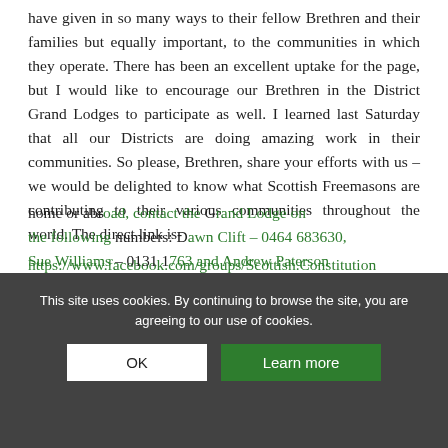have given in so many ways to their fellow Brethren and their families but equally important, to the communities in which they operate. There has been an excellent uptake for the page, but I would like to encourage our Brethren in the District Grand Lodges to participate as well. I learned last Saturday that all our Districts are doing amazing work in their communities. So please, Brethren, share your efforts with us – we would be delighted to know what Scottish Freemasons are contributing to their various communities throughout the world. The direct link is-
https://www.facebook.com/groups/Scottish.Constitution
home or abroad, contact the Grand Lodge on the following numbers: Dawn Clift – 0464 683630, Sue Williams – 0131 1763 and Andrew Paterson
This site uses cookies. By continuing to browse the site, you are agreeing to our use of cookies.